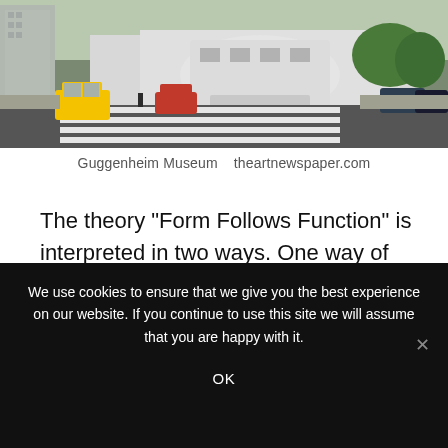[Figure (photo): Panoramic street-level photo of the Guggenheim Museum in New York City, showing the distinctive white curved building, a yellow taxi, parked cars, and a crosswalk in the foreground.]
Guggenheim Museum   theartnewspaper.com
The theory “Form Follows Function” is interpreted in two ways. One way of interpreting it is how beauty results from the purity of the function. Here the simplicity of the project achieved through the design is considered beauty. Another way of interpreting this
We use cookies to ensure that we give you the best experience on our website. If you continue to use this site we will assume that you are happy with it.

OK